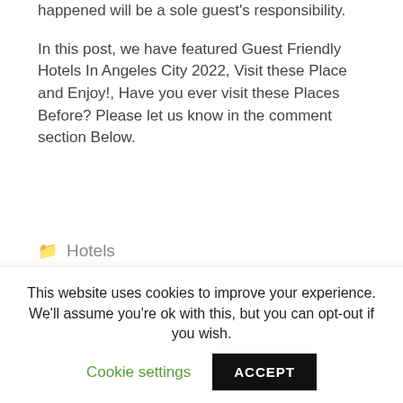happened will be a sole guest's responsibility.
In this post, we have featured Guest Friendly Hotels In Angeles City 2022, Visit these Place and Enjoy!, Have you ever visit these Places Before? Please let us know in the comment section Below.
Hotels
< Sandals Resorts Review 2022: How To Choose the Best Resort
This website uses cookies to improve your experience. We'll assume you're ok with this, but you can opt-out if you wish. Cookie settings ACCEPT